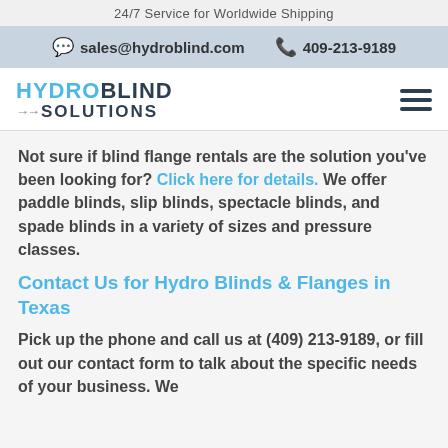24/7 Service for Worldwide Shipping
sales@hydroblind.com  409-213-9189
[Figure (logo): Hydro Blind Solutions logo with hamburger menu icon]
Not sure if blind flange rentals are the solution you've been looking for? Click here for details. We offer paddle blinds, slip blinds, spectacle blinds, and spade blinds in a variety of sizes and pressure classes.
Contact Us for Hydro Blinds & Flanges in Texas
Pick up the phone and call us at (409) 213-9189, or fill out our contact form to talk about the specific needs of your business. We